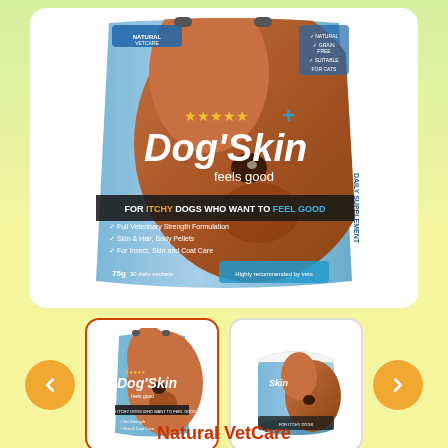[Figure (photo): Main product image showing DogSkin daily supplement pouch (75g) with a dog's face, blue packaging, five-star rating, and text 'FOR ITCHY DOGS WHO WANT TO FEEL GOOD']
[Figure (photo): Thumbnail image 1 (selected): DogSkin pouch product]
[Figure (photo): Thumbnail image 2: DogSkin tub/jar product]
Natural VetCare